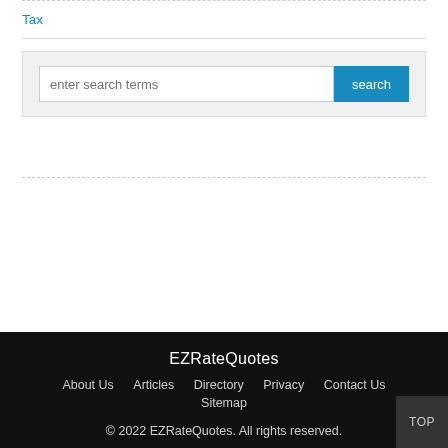Tax
enter search terms
EZRateQuotes
About Us   Articles   Directory   Privacy   Contact Us
Sitemap
© 2022 EZRateQuotes. All rights reserved.
TOP